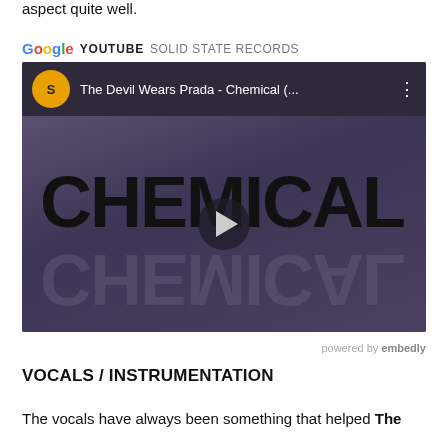aspect quite well.
[Figure (screenshot): YouTube video embed showing 'The Devil Wears Prada - Chemical (...' from Solid State Records channel, with a dark purple thumbnail displaying the word CHEMICAL in large bold text with a reflection below it, and a play button overlay. Powered by embedly credit shown below.]
powered by embedly
VOCALS / INSTRUMENTATION
The vocals have always been something that helped The